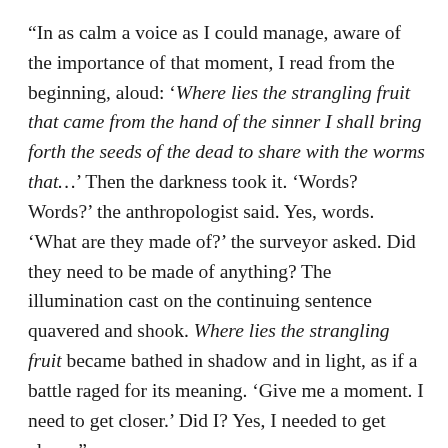“In as calm a voice as I could manage, aware of the importance of that moment, I read from the beginning, aloud: ‘Where lies the strangling fruit that came from the hand of the sinner I shall bring forth the seeds of the dead to share with the worms that…’ Then the darkness took it. ‘Words? Words?’ the anthropologist said. Yes, words. ‘What are they made of?’ the surveyor asked. Did they need to be made of anything? The illumination cast on the continuing sentence quavered and shook. Where lies the strangling fruit became bathed in shadow and in light, as if a battle raged for its meaning. ‘Give me a moment. I need to get closer.’ Did I? Yes, I needed to get closer.”